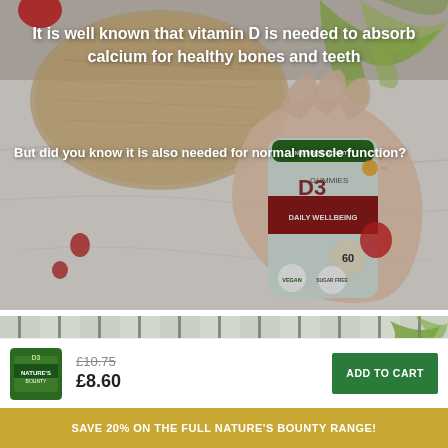[Figure (photo): A hand holding a Nature's Bounty Vitamin D3 Gummies jar (60 gummies, strawberry splash flavour, vegan, sugar free, daily wellbeing) on a marble surface with strawberries, placed on a wooden cutting board with green palm leaves in the background. White overlay text describes vitamin D benefits.]
It is well known that vitamin D is needed to absorb calcium for healthy bones and teeth
But did you know it is also needed for normal muscle function?
[Figure (photo): Partial view of a second product lifestyle photo with green plant and neutral background]
[Figure (photo): Small thumbnail of Nature's Bounty product bottle (green label)]
£10.75
£8.60
ADD TO CART
SAVE 20% ON THE FULL NATURE'S BOUNTY RANGE!